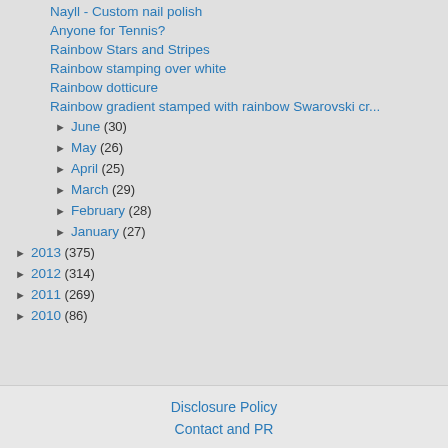Nayll - Custom nail polish
Anyone for Tennis?
Rainbow Stars and Stripes
Rainbow stamping over white
Rainbow dotticure
Rainbow gradient stamped with rainbow Swarovski cr...
► June (30)
► May (26)
► April (25)
► March (29)
► February (28)
► January (27)
► 2013 (375)
► 2012 (314)
► 2011 (269)
► 2010 (86)
Disclosure Policy
Contact and PR